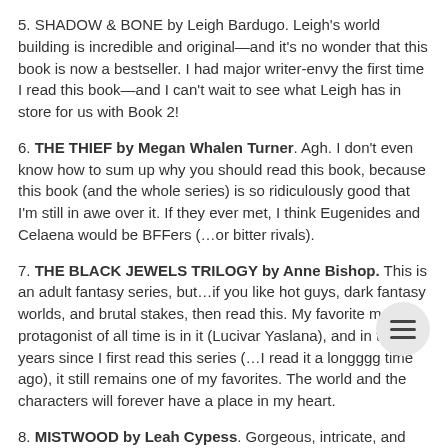5. SHADOW & BONE by Leigh Bardugo. Leigh's world building is incredible and original—and it's no wonder that this book is now a bestseller. I had major writer-envy the first time I read this book—and I can't wait to see what Leigh has in store for us with Book 2!
6. THE THIEF by Megan Whalen Turner. Agh. I don't even know how to sum up why you should read this book, because this book (and the whole series) is so ridiculously good that I'm still in awe over it. If they ever met, I think Eugenides and Celaena would be BFFers (…or bitter rivals).
7. THE BLACK JEWELS TRILOGY by Anne Bishop. This is an adult fantasy series, but…if you like hot guys, dark fantasy worlds, and brutal stakes, then read this. My favorite male protagonist of all time is in it (Lucivar Yaslana), and in the 12 years since I first read this series (…I read it a longggg time ago), it still remains one of my favorites. The world and the characters will forever have a place in my heart.
8. MISTWOOD by Leah Cypess. Gorgeous, intricate, and haunting